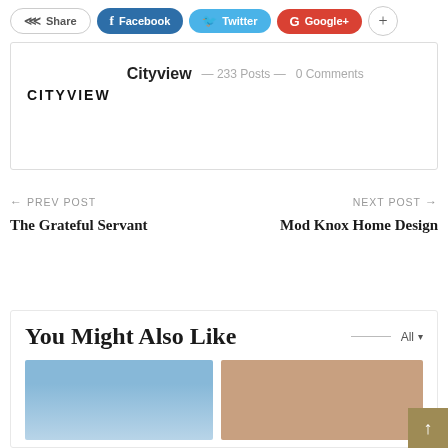[Figure (other): Social sharing buttons: Share, Facebook, Twitter, Google+, plus button]
[Figure (other): Author box showing CITYVIEW logo, name Cityview, 233 Posts, 0 Comments]
← PREV POST
The Grateful Servant
NEXT POST →
Mod Knox Home Design
You Might Also Like
[Figure (photo): Two thumbnail images at bottom: blue gradient sky on left, group of women on right]